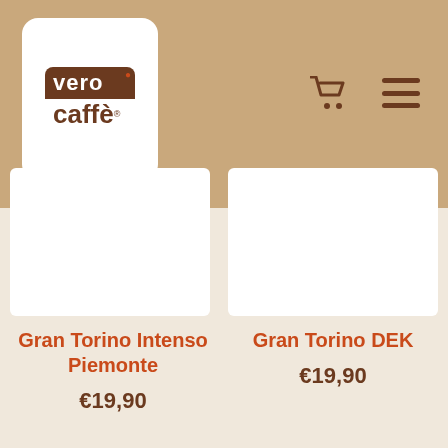[Figure (logo): Vero Caffè logo: rounded square with white background, brown text 'vero caffè' with coffee bean graphic]
[Figure (infographic): Shopping cart icon and hamburger menu icon in brown on tan header background]
[Figure (photo): Partial white product card (left), partially cut off at top]
[Figure (photo): Partial white product card (right), partially cut off at top]
Gran Torino Intenso Piemonte
€19,90
Gran Torino DEK
€19,90
[Figure (photo): Bottom left: white product card with partially visible blue/yellow product package]
[Figure (photo): Bottom right: ginger root and white cup with tea on dark wooden surface]